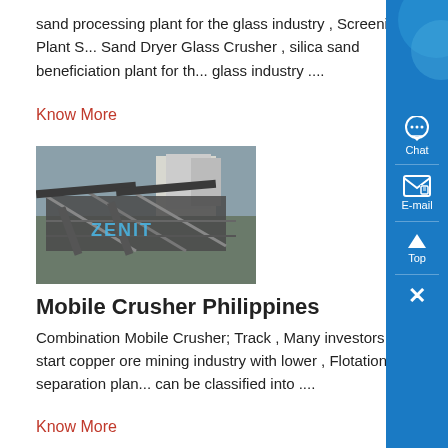sand processing plant for the glass industry , Screening Plant S... Sand Dryer Glass Crusher , silica sand beneficiation plant for the glass industry ....
Know More
[Figure (photo): Aerial or elevated photo of an industrial facility or construction site with metal framework structures, labeled with watermark 'ZENIT']
Mobile Crusher Philippines
Combination Mobile Crusher; Track , Many investors want start copper ore mining industry with lower , Flotation separation plan... can be classified into ....
Know More